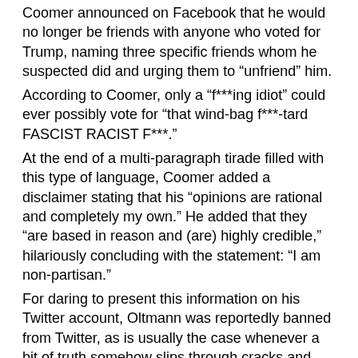Coomer announced on Facebook that he would no longer be friends with anyone who voted for Trump, naming three specific friends whom he suspected did and urging them to “unfriend” him.
According to Coomer, only a “f***ing idiot” could ever possibly vote for “that wind-bag f***-tard FASCIST RACIST F***.”
At the end of a multi-paragraph tirade filled with this type of language, Coomer added a disclaimer stating that his “opinions are rational and completely my own.” He added that they “are based in reason and (are) highly credible,” hilariously concluding with the statement: “I am non-partisan.”
For daring to present this information on his Twitter account, Oltmann was reportedly banned from Twitter, as is usually the case whenever a bit of truth somehow slips through cracks and lands in a tweet.
Keep in mind that some 30 American states, including